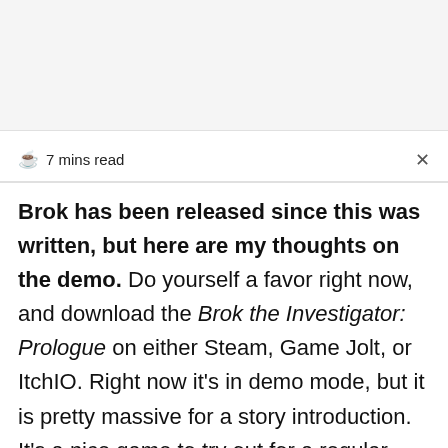☕ 7 mins read
Brok has been released since this was written, but here are my thoughts on the demo. Do yourself a favor right now, and download the Brok the Investigator: Prologue on either Steam, Game Jolt, or ItchIO. Right now it's in demo mode, but it is pretty massive for a story introduction. It's a nice game to try out for a regular gaming session,